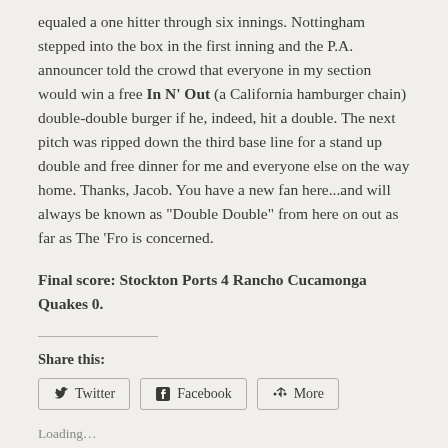equaled a one hitter through six innings. Nottingham stepped into the box in the first inning and the P.A. announcer told the crowd that everyone in my section would win a free In N' Out (a California hamburger chain) double-double burger if he, indeed, hit a double. The next pitch was ripped down the third base line for a stand up double and free dinner for me and everyone else on the way home. Thanks, Jacob. You have a new fan here...and will always be known as "Double Double" from here on out as far as The 'Fro is concerned.
Final score: Stockton Ports 4 Rancho Cucamonga Quakes 0.
Share this:
Twitter  Facebook  More
Loading...